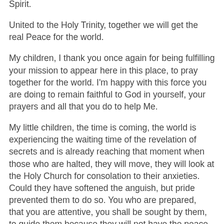Spirit.
United to the Holy Trinity, together we will get the real Peace for the world.
My children, I thank you once again for being fulfilling your mission to appear here in this place, to pray together for the world. I'm happy with this force you are doing to remain faithful to God in yourself, your prayers and all that you do to help Me.
My little children, the time is coming, the world is experiencing the waiting time of the revelation of secrets and is already reaching that moment when those who are halted, they will move, they will look at the Holy Church for consolation to their anxieties. Could they have softened the anguish, but pride prevented them to do so. You who are prepared,  that you are attentive, you shall be sought by them, to guide them because they will not have the peace of those who are with Me in this battle.